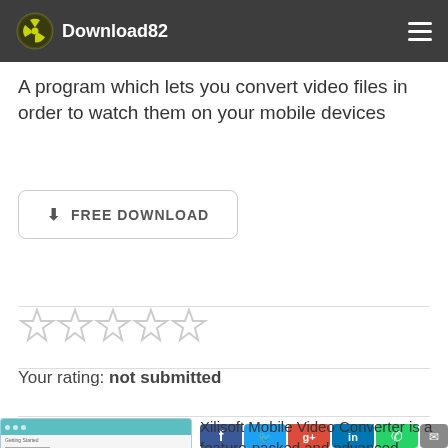Download82
A program which lets you convert video files in order to watch them on your mobile devices
FREE DOWNLOAD
[Figure (other): Five empty star rating icons]
Your rating: not submitted
[Figure (screenshot): Screenshot of Xilisoft Mobile Video Converter application]
[Figure (other): Social media share icons: Facebook, Twitter, Google+, LinkedIn, WhatsApp, Email]
Xilisoft Mobile Video Converter is a feature-packed and advanced application which enables you to